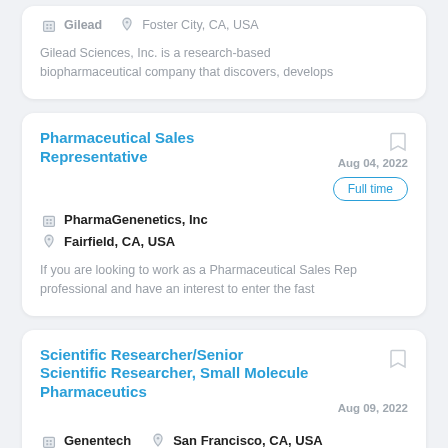Gilead  Foster City, CA, USA
Gilead Sciences, Inc. is a research-based biopharmaceutical company that discovers, develops
Pharmaceutical Sales Representative
Aug 04, 2022
PharmaGenenetics, Inc
Fairfield, CA, USA
Full time
If you are looking to work as a Pharmaceutical Sales Rep professional and have an interest to enter the fast
Scientific Researcher/Senior Scientific Researcher, Small Molecule Pharmaceutics
Aug 09, 2022
Genentech
San Francisco, CA, USA